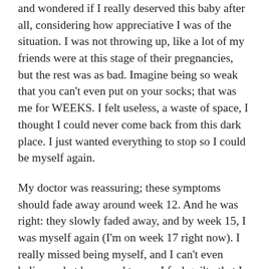and wondered if I really deserved this baby after all, considering how appreciative I was of the situation. I was not throwing up, like a lot of my friends were at this stage of their pregnancies, but the rest was as bad. Imagine being so weak that you can't even put on your socks; that was me for WEEKS. I felt useless, a waste of space, I thought I could never come back from this dark place. I just wanted everything to stop so I could be myself again.
My doctor was reassuring; these symptoms should fade away around week 12. And he was right: they slowly faded away, and by week 15, I was myself again (I'm on week 17 right now). I really missed being myself, and I can't even believe what happened to me. I feel guilty that I just wanted to stop everything, pack my things and leave on another continent to start a new life (yeah, I went that far). I feel grateful now that the first trimester of hell is over. I also feel grateful that my ultrasound went